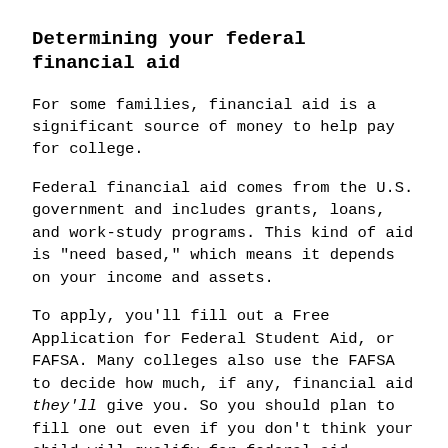Determining your federal financial aid
For some families, financial aid is a significant source of money to help pay for college.
Federal financial aid comes from the U.S. government and includes grants, loans, and work-study programs. This kind of aid is "need based," which means it depends on your income and assets.
To apply, you'll fill out a Free Application for Federal Student Aid, or FAFSA. Many colleges also use the FAFSA to decide how much, if any, financial aid they'll give you. So you should plan to fill one out even if you don't think your child will qualify for federal aid.
You can get an idea of how much federal aid your